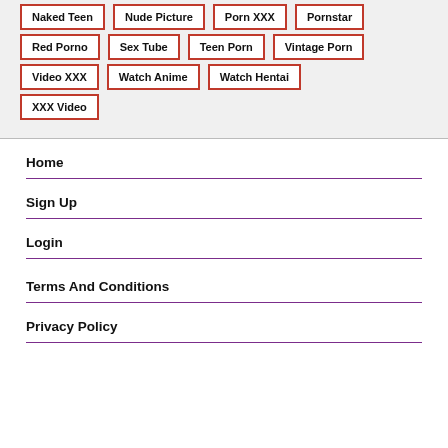Naked Teen
Nude Picture
Porn XXX
Pornstar
Red Porno
Sex Tube
Teen Porn
Vintage Porn
Video XXX
Watch Anime
Watch Hentai
XXX Video
Home
Sign Up
Login
Terms And Conditions
Privacy Policy